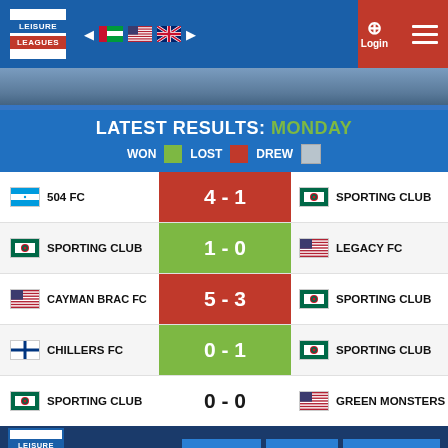[Figure (screenshot): Leisure Leagues website header with logo, flag navigation, Login button, and hamburger menu]
LATEST RESULTS: MONDAY
WON   LOST   DREW
| Home Team | Score | Away Team |
| --- | --- | --- |
| 504 FC | 4 - 1 | SPORTING CLUB |
| SPORTING CLUB | 1 - 0 | LEGACY FC |
| CAYMAN BRAC FC | 5 - 3 | SPORTING CLUB |
| CHILLERS FC | 0 - 1 | SPORTING CLUB |
| SPORTING CLUB | 0 - 0 | GREEN MONSTERS |
[Figure (logo): Leisure Leagues footer logo]
MORE INFO   PAY NOW   JOIN A LEAGUE